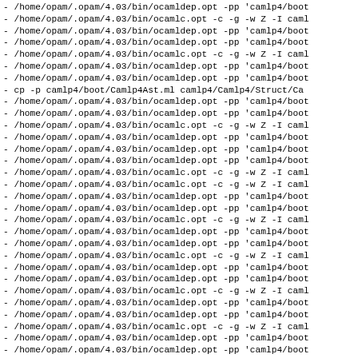- /home/opam/.opam/4.03/bin/ocamldep.opt -pp 'camlp4/boot
- /home/opam/.opam/4.03/bin/ocamlc.opt -c -g -w Z -I caml
- /home/opam/.opam/4.03/bin/ocamldep.opt -pp 'camlp4/boot
- /home/opam/.opam/4.03/bin/ocamldep.opt -pp 'camlp4/boot
- /home/opam/.opam/4.03/bin/ocamlc.opt -c -g -w Z -I caml
- /home/opam/.opam/4.03/bin/ocamldep.opt -pp 'camlp4/boot
- /home/opam/.opam/4.03/bin/ocamldep.opt -pp 'camlp4/boot
- cp -p camlp4/boot/Camlp4Ast.ml camlp4/Camlp4/Struct/Ca
- /home/opam/.opam/4.03/bin/ocamldep.opt -pp 'camlp4/boot
- /home/opam/.opam/4.03/bin/ocamldep.opt -pp 'camlp4/boot
- /home/opam/.opam/4.03/bin/ocamlc.opt -c -g -w Z -I caml
- /home/opam/.opam/4.03/bin/ocamldep.opt -pp 'camlp4/boot
- /home/opam/.opam/4.03/bin/ocamldep.opt -pp 'camlp4/boot
- /home/opam/.opam/4.03/bin/ocamldep.opt -pp 'camlp4/boot
- /home/opam/.opam/4.03/bin/ocamlc.opt -c -g -w Z -I caml
- /home/opam/.opam/4.03/bin/ocamlc.opt -c -g -w Z -I caml
- /home/opam/.opam/4.03/bin/ocamldep.opt -pp 'camlp4/boot
- /home/opam/.opam/4.03/bin/ocamldep.opt -pp 'camlp4/boot
- /home/opam/.opam/4.03/bin/ocamlc.opt -c -g -w Z -I caml
- /home/opam/.opam/4.03/bin/ocamldep.opt -pp 'camlp4/boot
- /home/opam/.opam/4.03/bin/ocamldep.opt -pp 'camlp4/boot
- /home/opam/.opam/4.03/bin/ocamlc.opt -c -g -w Z -I caml
- /home/opam/.opam/4.03/bin/ocamldep.opt -pp 'camlp4/boot
- /home/opam/.opam/4.03/bin/ocamldep.opt -pp 'camlp4/boot
- /home/opam/.opam/4.03/bin/ocamlc.opt -c -g -w Z -I caml
- /home/opam/.opam/4.03/bin/ocamldep.opt -pp 'camlp4/boot
- /home/opam/.opam/4.03/bin/ocamldep.opt -pp 'camlp4/boot
- /home/opam/.opam/4.03/bin/ocamlc.opt -c -g -w Z -I caml
- /home/opam/.opam/4.03/bin/ocamldep.opt -pp 'camlp4/boot
- /home/opam/.opam/4.03/bin/ocamldep.opt -pp 'camlp4/boot